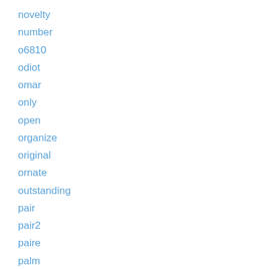novelty
number
o6810
odiot
omar
only
open
organize
original
ornate
outstanding
pair
pair2
paire
palm
pampaloni
patrick